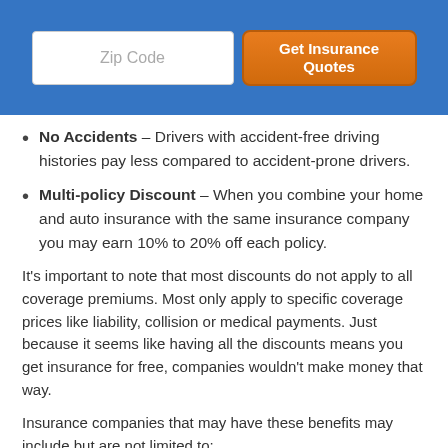[Figure (other): Blue header bar with a Zip Code input field and an orange 'Get Insurance Quotes' button]
No Accidents – Drivers with accident-free driving histories pay less compared to accident-prone drivers.
Multi-policy Discount – When you combine your home and auto insurance with the same insurance company you may earn 10% to 20% off each policy.
It's important to note that most discounts do not apply to all coverage premiums. Most only apply to specific coverage prices like liability, collision or medical payments. Just because it seems like having all the discounts means you get insurance for free, companies wouldn't make money that way.
Insurance companies that may have these benefits may include but are not limited to:
State Farm